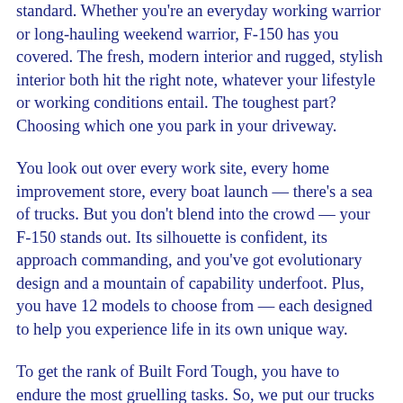standard. Whether you're an everyday working warrior or long-hauling weekend warrior, F-150 has you covered. The fresh, modern interior and rugged, stylish interior both hit the right note, whatever your lifestyle or working conditions entail. The toughest part? Choosing which one you park in your driveway.
You look out over every work site, every home improvement store, every boat launch — there's a sea of trucks. But you don't blend into the crowd — your F-150 stands out. Its silhouette is confident, its approach commanding, and you've got evolutionary design and a mountain of capability underfoot. Plus, you have 12 models to choose from — each designed to help you experience life in its own unique way.
To get the rank of Built Ford Tough, you have to endure the most gruelling tasks. So, we put our trucks through merciless conditions, including temperatures ranging from subzero to searing heat, towing heavy loads over steep inclines and teeth-rattling torture tests on bone-jarring terrain. This truck proves it can meet your toughest challenges.
Thanks to you, the Ford F-Series has been the bestselling line of trucks in Canada for 56 years. And, for the first time, the lineup includes gas, hybrid and all-electric F-150 trucks. Keep exploring